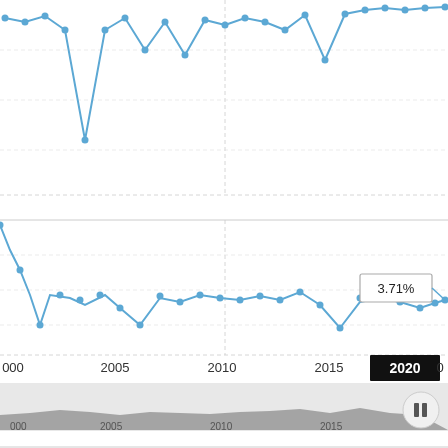[Figure (continuous-plot): A line chart showing time series data from approximately 2000 to 2020+. The chart is split into two panels (top and bottom line charts) sharing the same x-axis. The bottom panel shows a line with a sharp peak around 2000, then declining and stabilizing around 3.71% by 2020, with a tooltip showing '3.71%'. The x-axis shows years: 2000, 2005, 2010, 2015, 2020. A mini overview/navigator area chart appears at the very bottom with a pause button. The '2020' label appears highlighted in a black box on the x-axis.]